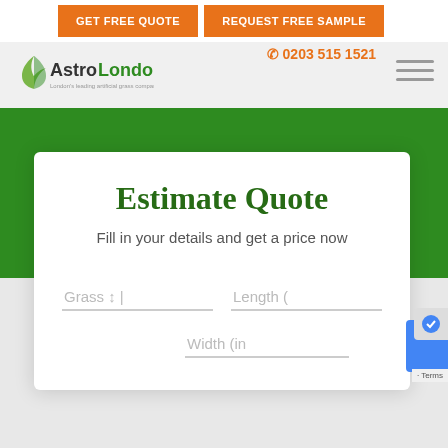GET FREE QUOTE | REQUEST FREE SAMPLE | ✆ 0203 515 1521
[Figure (logo): AstroLondon logo with green leaf/star icon and two-tone text 'Astro' in black and 'London' in green, with tagline beneath]
Estimate Quote
Fill in your details and get a price now
Grass ↕ | Length (   Width (in